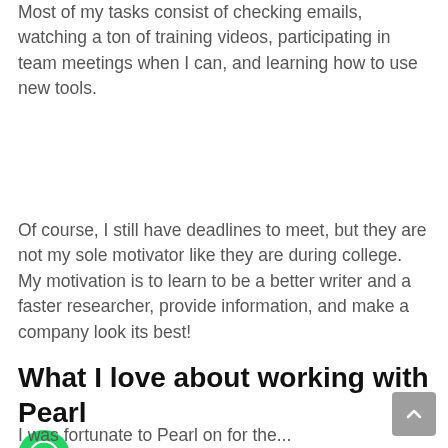Most of my tasks consist of checking emails, watching a ton of training videos, participating in team meetings when I can, and learning how to use new tools.
Of course, I still have deadlines to meet, but they are not my sole motivator like they are during college.  My motivation is to learn to be a better writer and a faster researcher, provide information, and make a company look its best!
What I love about working with Pearl [WhatsApp icon] on
I was fortunate to Pearl on for the...